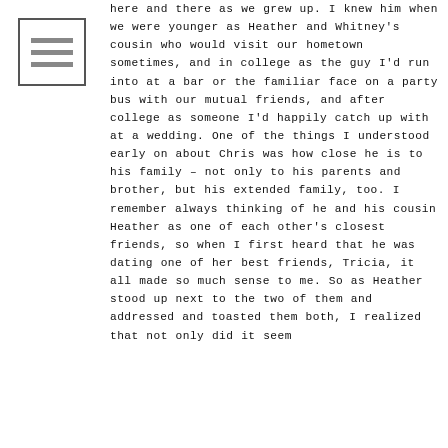[Figure (other): Small icon box with three horizontal lines, resembling a document/list icon]
here and there as we grew up. I knew him when we were younger as Heather and Whitney's cousin who would visit our hometown sometimes, and in college as the guy I'd run into at a bar or the familiar face on a party bus with our mutual friends, and after college as someone I'd happily catch up with at a wedding. One of the things I understood early on about Chris was how close he is to his family – not only to his parents and brother, but his extended family, too. I remember always thinking of he and his cousin Heather as one of each other's closest friends, so when I first heard that he was dating one of her best friends, Tricia, it all made so much sense to me. So as Heather stood up next to the two of them and addressed and toasted them both, I realized that not only did it seem